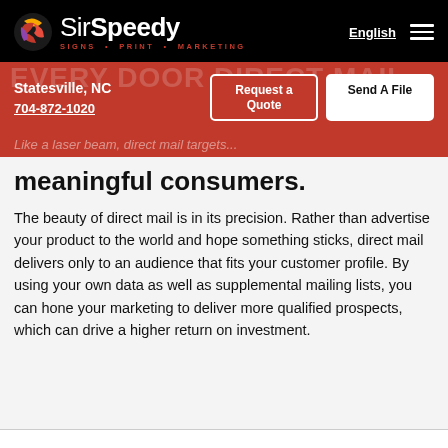[Figure (logo): SirSpeedy logo with colorful swirl icon and tagline SIGNS · PRINT · MARKETING on black header, with English language link and hamburger menu]
Statesville, NC
704-872-1020
Request a Quote
Send A File
meaningful consumers.
The beauty of direct mail is in its precision. Rather than advertise your product to the world and hope something sticks, direct mail delivers only to an audience that fits your customer profile. By using your own data as well as supplemental mailing lists, you can hone your marketing to deliver more qualified prospects, which can drive a higher return on investment.